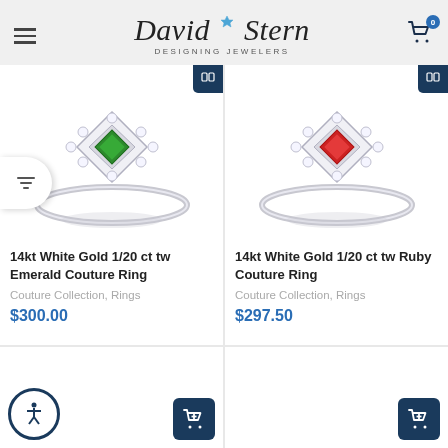David Stern Designing Jewelers
[Figure (photo): 14kt White Gold 1/20 ct tw Emerald Couture Ring - diamond-shaped setting with green emerald center stone surrounded by round diamonds on a thin white gold band]
14kt White Gold 1/20 ct tw Emerald Couture Ring
Couture Collection, Rings
$300.00
[Figure (photo): 14kt White Gold 1/20 ct tw Ruby Couture Ring - diamond-shaped setting with red ruby center stone surrounded by round diamonds on a thin white gold band]
14kt White Gold 1/20 ct tw Ruby Couture Ring
Couture Collection, Rings
$297.50